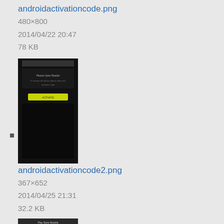androidactivationcode.png
480×800
2014/04/22 20:47
78 KB
[Figure (screenshot): Thumbnail of androidactivationcode.png showing a dark Android screen with a yellow/green button]
androidactivationcode2.png
367×652
2014/04/25 21:31
32.2 KB
[Figure (screenshot): Thumbnail of androidactivationcode2.png showing an Android screen with a form/table interface]
androidappdatausage.jpg
403×642
2013/07/30 23:00
59.4 KB